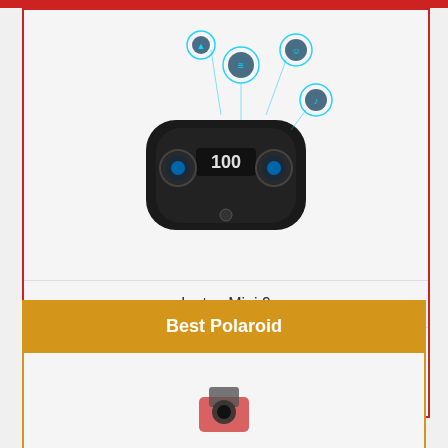[Figure (photo): Wireless earbuds in an open charging case with LED display showing '100', with blue holographic icons floating above]
Instax Mini 9
Check Price on Amazon
Best Polaroid
[Figure (photo): Partially visible product image at bottom of page]